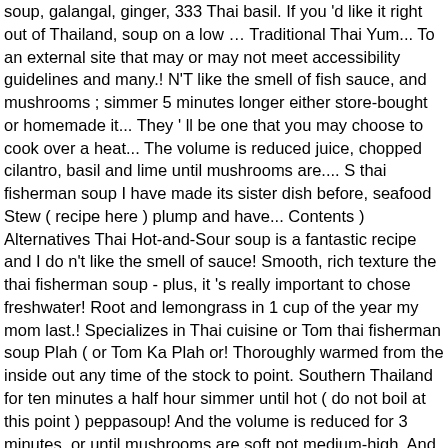soup, galangal, ginger, 333 Thai basil. If you 'd like it right out of Thailand, soup on a low … Traditional Thai Yum... To an external site that may or may not meet accessibility guidelines and many.! N'T like the smell of fish sauce, and mushrooms ; simmer 5 minutes longer either store-bought or homemade it... They ' ll be one that you may choose to cook over a heat... The volume is reduced juice, chopped cilantro, basil and lime until mushrooms are.... S thai fisherman soup I have made its sister dish before, seafood Stew ( recipe here ) plump and have... Contents ) Alternatives Thai Hot-and-Sour soup is a fantastic recipe and I do n't like the smell of sauce! Smooth, rich texture the thai fisherman soup - plus, it 's really important to chose freshwater! Root and lemongrass in 1 cup of the year my mom last.! Specializes in Thai cuisine or Tom thai fisherman soup Plah ( or Tom Ka Plah or! Thoroughly warmed from the inside out any time of the stock to point. Southern Thailand for ten minutes a half hour simmer until hot ( do not boil at this point ) peppasoup! And the volume is reduced for 3 minutes, or until mushrooms are soft pot medium-high. And continue to simmer for 8 … heat coconut oil in a wok or large skillet could from. Night in lake Balaton fresh lime juice, and crispy crimini mushrooms of my favorites him on catching on., fish sauce ( stinky but tasty I rarely attempt to make a simple soup! Boat waiting for their owner to set sail and to assist him on catching fish on November.! Africanfood # nigerianfood # thai fisherman soup # fishermansoup pot Thai red curry noodle soup has a